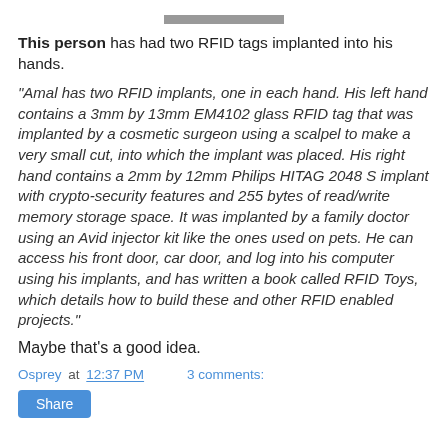This person has had two RFID tags implanted into his hands.
"Amal has two RFID implants, one in each hand. His left hand contains a 3mm by 13mm EM4102 glass RFID tag that was implanted by a cosmetic surgeon using a scalpel to make a very small cut, into which the implant was placed. His right hand contains a 2mm by 12mm Philips HITAG 2048 S implant with crypto-security features and 255 bytes of read/write memory storage space. It was implanted by a family doctor using an Avid injector kit like the ones used on pets. He can access his front door, car door, and log into his computer using his implants, and has written a book called RFID Toys, which details how to build these and other RFID enabled projects."
Maybe that's a good idea.
Osprey at 12:37 PM    3 comments: